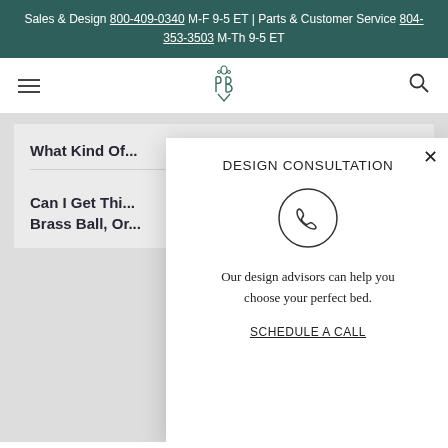Sales & Design 800-409-0340 M-F 9-5 ET | Parts & Customer Service 804-353-3503 M-Th 9-5 ET
[Figure (logo): Brand logo: stylized PB monogram with decorative floral element]
What Kind Of...
Can I Get Thi... Brass Ball, Or...
[Figure (infographic): Design Consultation modal popup with phone icon, text 'Our design advisors can help you choose your perfect bed.' and 'SCHEDULE A CALL' link]